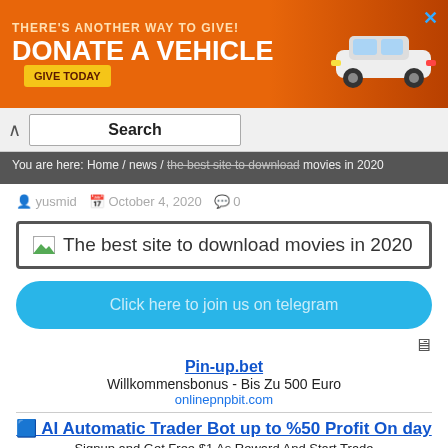[Figure (infographic): Orange banner ad: THERE'S ANOTHER WAY TO GIVE! DONATE A VEHICLE GIVE TODAY with car image]
Search
You are here: Home / news / the best site to download movies in 2020
yusmid  October 4, 2020  0
[Figure (screenshot): Image with broken icon and text: The best site to download movies in 2020]
Click here to join us on telegram
Pin-up.bet
Willkommensbonus - Bis Zu 500 Euro
onlinepnpbit.com
⬛ AI Automatic Trader Bot up to %50 Profit On day
Signup and Get Free $1 As Reward And Start Trade